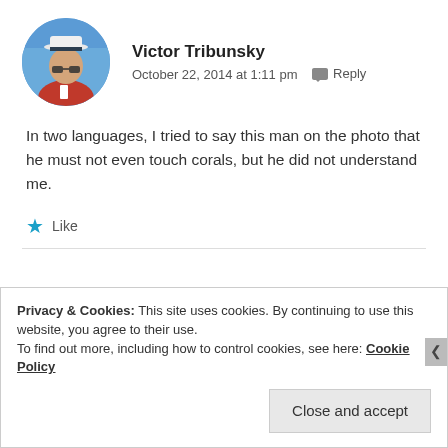[Figure (photo): Circular avatar photo of a man wearing a white captain's hat and red polo shirt, against a blue sky background.]
Victor Tribunsky
October 22, 2014 at 1:11 pm  Reply
In two languages, I tried to say this man on the photo that he must not even touch corals, but he did not understand me.
★ Like
Privacy & Cookies: This site uses cookies. By continuing to use this website, you agree to their use.
To find out more, including how to control cookies, see here: Cookie Policy
Close and accept